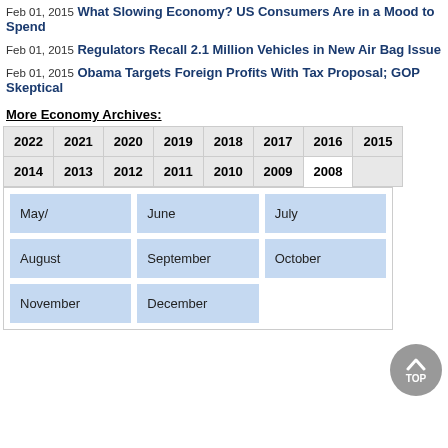Feb 01, 2015 What Slowing Economy? US Consumers Are in a Mood to Spend
Feb 01, 2015 Regulators Recall 2.1 Million Vehicles in New Air Bag Issue
Feb 01, 2015 Obama Targets Foreign Profits With Tax Proposal; GOP Skeptical
More Economy Archives:
| 2022 | 2021 | 2020 | 2019 | 2018 | 2017 | 2016 | 2015 | 2014 | 2013 | 2012 | 2011 | 2010 | 2009 | 2008 |
| --- | --- | --- | --- | --- | --- | --- | --- | --- | --- | --- | --- | --- | --- | --- |
May/
June
July
August
September
October
November
December